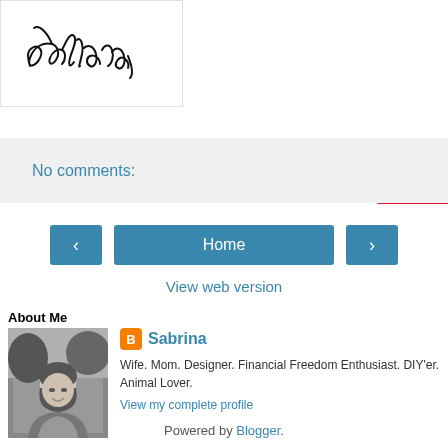[Figure (illustration): Cursive signature logo reading 'sabrina' in black script on white background with light border]
[Figure (screenshot): Pinterest Save button in red with Pinterest circle icon]
No comments:
[Figure (screenshot): Navigation buttons: left arrow, Home, right arrow]
View web version
About Me
[Figure (photo): Black and white photo of a woman smiling outdoors]
Sabrina
Wife. Mom. Designer. Financial Freedom Enthusiast. DIY'er. Animal Lover.
View my complete profile
Powered by Blogger.